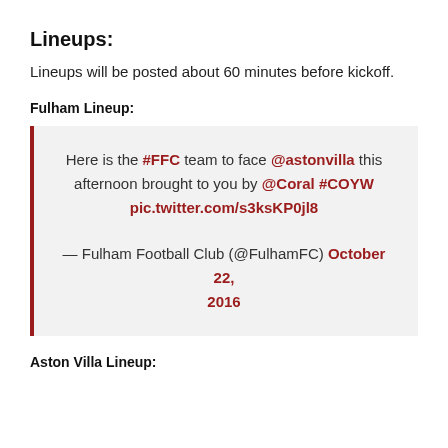Lineups:
Lineups will be posted about 60 minutes before kickoff.
Fulham Lineup:
Here is the #FFC team to face @astonvilla this afternoon brought to you by @Coral #COYW pic.twitter.com/s3ksKP0jl8

— Fulham Football Club (@FulhamFC) October 22, 2016
Aston Villa Lineup: